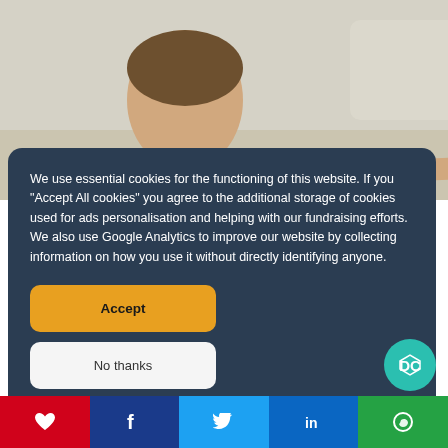[Figure (photo): Two children looking downward at something on a table; one boy in a green t-shirt on the left, one girl with glasses on the right in a white top, appearing to be doing schoolwork or a craft activity together.]
We use essential cookies for the functioning of this website. If you "Accept All cookies" you agree to the additional storage of cookies used for ads personalisation and helping with our fundraising efforts. We also use Google Analytics to improve our website by collecting information on how you use it without directly identifying anyone.
Accept
No thanks
Choose preferences